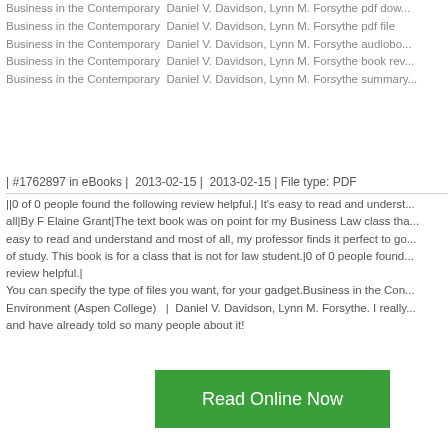Business in the Contemporary  Daniel V. Davidson, Lynn M. Forsythe pdf dow...
Business in the Contemporary  Daniel V. Davidson, Lynn M. Forsythe pdf file
Business in the Contemporary  Daniel V. Davidson, Lynn M. Forsythe audiobo...
Business in the Contemporary  Daniel V. Davidson, Lynn M. Forsythe book rev...
Business in the Contemporary  Daniel V. Davidson, Lynn M. Forsythe summary...
| #1762897 in eBooks |  2013-02-15 |  2013-02-15 | File type: PDF
||0 of 0 people found the following review helpful.| It's easy to read and underst... all|By F Elaine Grant|The text book was on point for my Business Law class tha... easy to read and understand and most of all, my professor finds it perfect to go... of study. This book is for a class that is not for law student.|0 of 0 people found... review helpful.|
You can specify the type of files you want, for your gadget.Business in the Con... Environment (Aspen College)   |  Daniel V. Davidson, Lynn M. Forsythe. I really... and have already told so many people about it!
[Figure (other): Green 'Read Online Now' button]